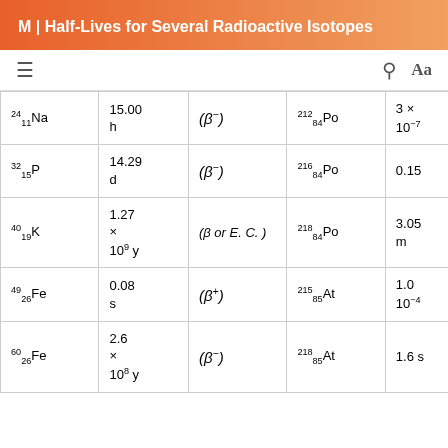M | Half-Lives for Several Radioactive Isotopes
| Isotope | Half-Life | Decay Mode | Isotope | Half-Life (partial) |
| --- | --- | --- | --- | --- |
| 24/11 Na | 15.00 h | (β⁻) | 212/84 Po | 3 × 10⁻⁷ |
| 32/15 P | 14.29 d | (β⁻) | 216/84 Po | 0.15 |
| 40/19 K | 1.27 × 10⁹ y | (β or E. C.) | 218/84 Po | 3.05 m |
| 49/26 Fe | 0.08 s | (β⁺) | 215/85 At | 1.0 × 10⁻⁴ |
| 60/26 Fe | 2.6 × 10⁸ y | (β⁻) | 218/85 At | 1.6 s |